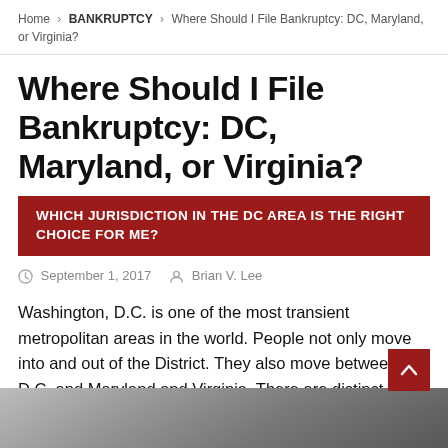Home > BANKRUPTCY > Where Should I File Bankruptcy: DC, Maryland, or Virginia?
Where Should I File Bankruptcy: DC, Maryland, or Virginia?
WHICH JURISDICTION IN THE DC AREA IS THE RIGHT CHOICE FOR ME?
September 1, 2017  Brian V. Lee
Washington, D.C. is one of the most transient metropolitan areas in the world. People not only move into and out of the District. They also move between D.C. and Maryland and Virginia. There are distinct differences between filing bankruptcy in DC, Maryland and Virginia. So where should I file bankruptcy?
[Figure (photo): Photograph of cloudy sky, partially visible at bottom of page]